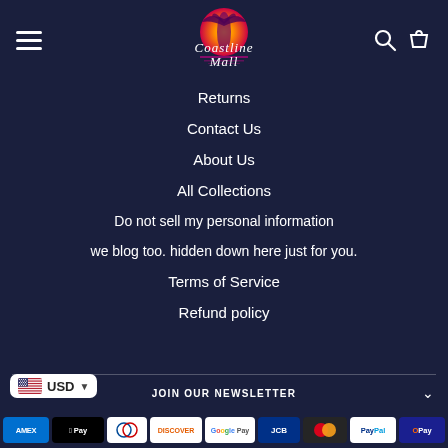Coastline Mall - navigation header with hamburger menu, logo, search and cart icons
Returns
Contact Us
About Us
All Collections
Do not sell my personal information
we blog too. hidden down here just for you.
Terms of Service
Refund policy
JOIN OUR NEWSLETTER | USD currency selector | Payment methods: AMEX, Apple Pay, Diners, Discover, Google Pay, JCB, Mastercard, PayPal, OPay